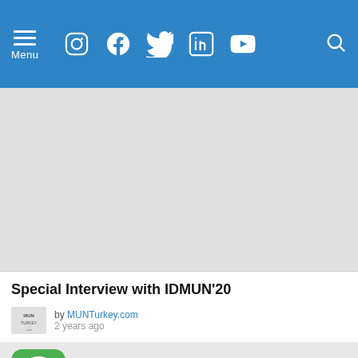Menu — Navigation bar with social icons: Instagram, Facebook, Twitter, LinkedIn, YouTube, and Search
[Figure (photo): Large gray image placeholder area below the navigation bar]
Special Interview with IDMUN'20
by MUNTurkey.com
2 years ago
[Figure (screenshot): WhatsApp share button icon (green rounded square with WhatsApp logo) in a light gray bar at the bottom]